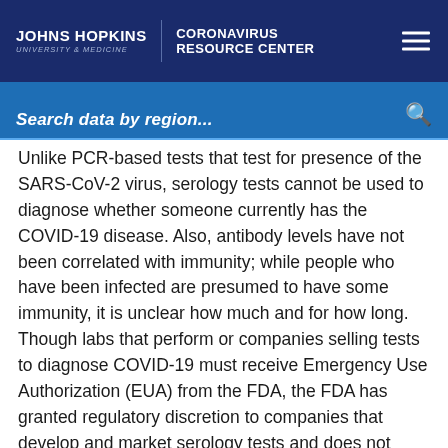JOHNS HOPKINS UNIVERSITY & MEDICINE | CORONAVIRUS RESOURCE CENTER
[Figure (screenshot): Search bar with placeholder text 'Search data by region...' and a search icon on the right, on a blue background]
Unlike PCR-based tests that test for presence of the SARS-CoV-2 virus, serology tests cannot be used to diagnose whether someone currently has the COVID-19 disease. Also, antibody levels have not been correlated with immunity; while people who have been infected are presumed to have some immunity, it is unclear how much and for how long. Though labs that perform or companies selling tests to diagnose COVID-19 must receive Emergency Use Authorization (EUA) from the FDA, the FDA has granted regulatory discretion to companies that develop and market serology tests and does not require them to apply for an EUA. As a result, there has not been a formal evaluation of the performance of serology tests that are currently available. Some reports have raised concerns